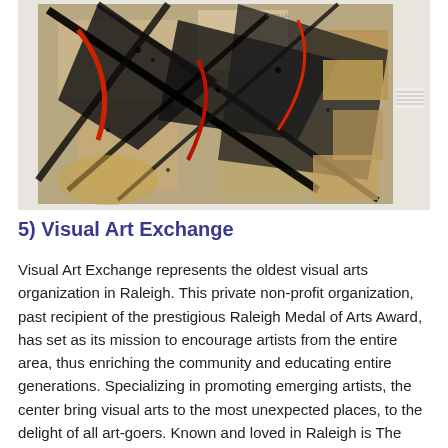[Figure (photo): Abstract mixed media artwork displayed on a white gallery wall. The piece features bold black brushstrokes, splashes, and angular forms over a collage of earthy, tan, and brown textures, with accents of red and gold. The composition is chaotic and energetic, resembling an abstract expressionist painting with collage elements.]
5) Visual Art Exchange
Visual Art Exchange represents the oldest visual arts organization in Raleigh. This private non-profit organization, past recipient of the prestigious Raleigh Medal of Arts Award, has set as its mission to encourage artists from the entire area, thus enriching the community and educating entire generations. Specializing in promoting emerging artists, the center bring visual arts to the most unexpected places, to the delight of all art-goers. Known and loved in Raleigh is The Raleigh Street Painting Festival, which provides an excellent opportunity for people to experience creativity and beauty